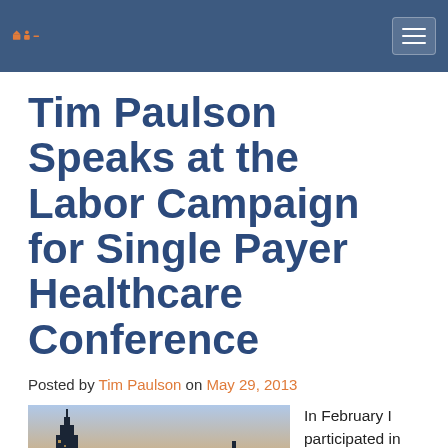Tim Paulson – (logo/navigation header)
Tim Paulson Speaks at the Labor Campaign for Single Payer Healthcare Conference
Posted by Tim Paulson on May 29, 2013
[Figure (photo): City skyline at dusk with tall skyscrapers reflected in water, likely Chicago]
In February I participated in the national strategy conference of